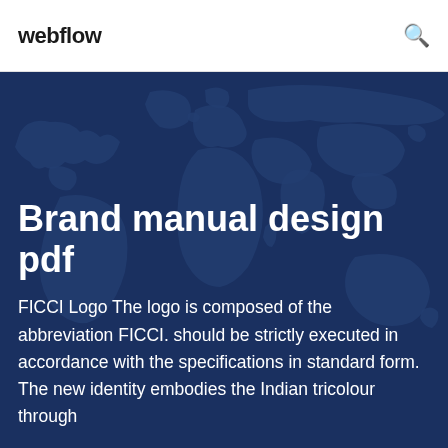webflow
[Figure (illustration): World map silhouette on dark navy blue background used as hero section backdrop]
Brand manual design pdf
FICCI Logo The logo is composed of the abbreviation FICCI. should be strictly executed in accordance with the specifications in standard form. The new identity embodies the Indian tricolour through